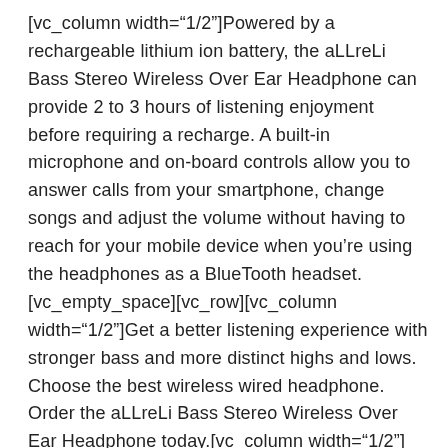[vc_column width="1/2"]Powered by a rechargeable lithium ion battery, the aLLreLi Bass Stereo Wireless Over Ear Headphone can provide 2 to 3 hours of listening enjoyment before requiring a recharge. A built-in microphone and on-board controls allow you to answer calls from your smartphone, change songs and adjust the volume without having to reach for your mobile device when you're using the headphones as a BlueTooth headset.[vc_empty_space][vc_row][vc_column width="1/2"]Get a better listening experience with stronger bass and more distinct highs and lows. Choose the best wireless wired headphone. Order the aLLreLi Bass Stereo Wireless Over Ear Headphone today.[vc_column width="1/2"][vc_single_image image="7521" img_size="full" alignment="right"][vc_empty_space][vc_video link="https://www.youtube.com/watch?v=S4G9MM9VO0s" title="Review from Tech Tesseract"]